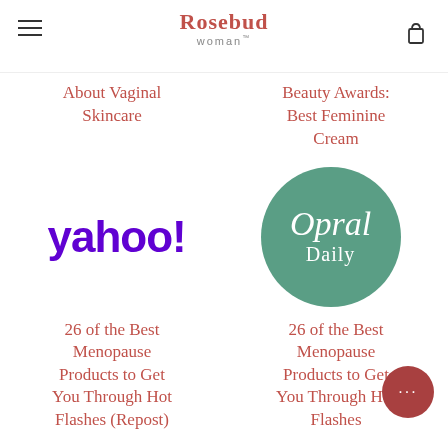Rosebud woman
About Vaginal Skincare
Beauty Awards: Best Feminine Cream
[Figure (logo): Yahoo! logo in purple]
[Figure (logo): Oprah Daily logo on green circle]
26 of the Best Menopause Products to Get You Through Hot Flashes (Repost)
26 of the Best Menopause Products to Get You Through Hot Flashes